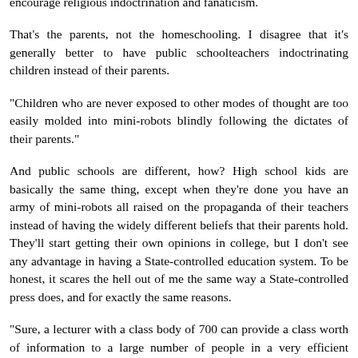encourage religious indoctrination and fanaticism.
That's the parents, not the homeschooling. I disagree that it's generally better to have public schoolteachers indoctrinating children instead of their parents.
"Children who are never exposed to other modes of thought are too easily molded into mini-robots blindly following the dictates of their parents."
And public schools are different, how? High school kids are basically the same thing, except when they're done you have an army of mini-robots all raised on the propaganda of their teachers instead of having the widely different beliefs that their parents hold. They'll start getting their own opinions in college, but I don't see any advantage in having a State-controlled education system. To be honest, it scares the hell out of me the same way a State-controlled press does, and for exactly the same reasons.
"Sure, a lecturer with a class body of 700 can provide a class worth of information to a large number of people in a very efficient manner, but what is 10% of the class had